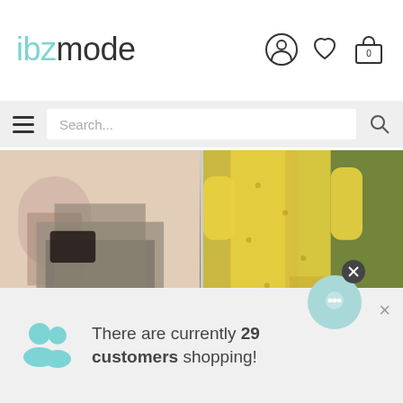ibzmode
[Figure (screenshot): Two fashion product photos: left shows a woman in a floral/grey maxi dress with black accessories in an archway setting; right shows a woman in a yellow floral maxi dress outdoors.]
Ibizamode uses cookies(and similar techniques)to make shopping at
There are currently 29 customers shopping!